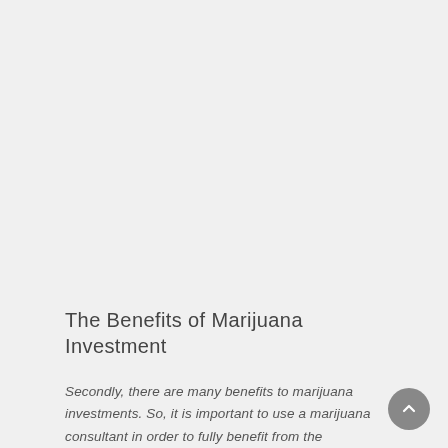The Benefits of Marijuana Investment
Secondly, there are many benefits to marijuana investments. So, it is important to use a marijuana consultant in order to fully benefit from the